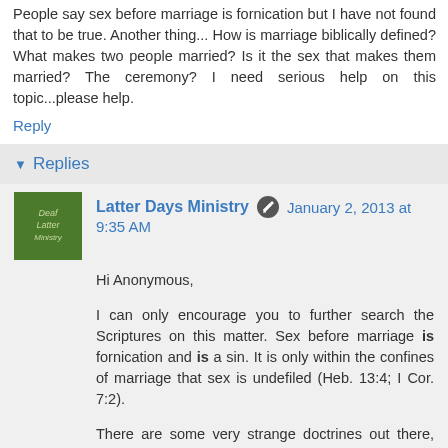People say sex before marriage is fornication but I have not found that to be true. Another thing... How is marriage biblically defined? What makes two people married? Is it the sex that makes them married? The ceremony? I need serious help on this topic...please help.
Reply
Replies
Latter Days Ministry  January 2, 2013 at 9:35 AM
Hi Anonymous,
I can only encourage you to further search the Scriptures on this matter. Sex before marriage is fornication and is a sin. It is only within the confines of marriage that sex is undefiled (Heb. 13:4; I Cor. 7:2).
There are some very strange doctrines out there, including that sexual relations constitutes marriage. Such is not true. Adam & Eve did not